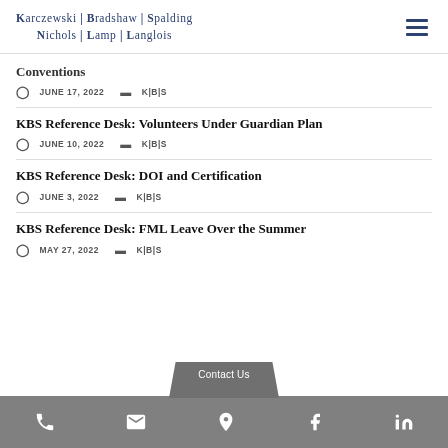KARCZEWSKI | BRADSHAW | SPALDING NICHOLS | LAMP | LANGLOIS
Conventions
JUNE 17, 2022   K|B|S
KBS Reference Desk: Volunteers Under Guardian Plan
JUNE 10, 2022   K|B|S
KBS Reference Desk: DOI and Certification
JUNE 3, 2022   K|B|S
KBS Reference Desk: FML Leave Over the Summer
MAY 27, 2022   K|B|S